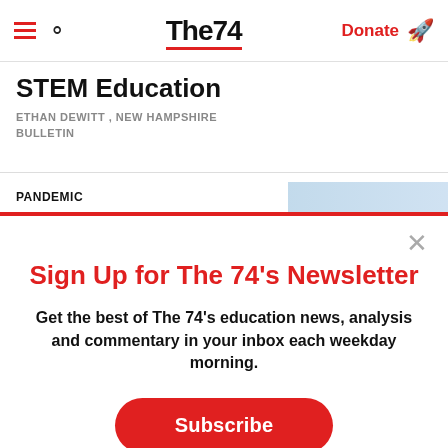The74 — Donate
STEM Education
ETHAN DEWITT , NEW HAMPSHIRE BULLETIN
PANDEMIC
Sign Up for The 74's Newsletter
Get the best of The 74's education news, analysis and commentary in your inbox each weekday morning.
Subscribe